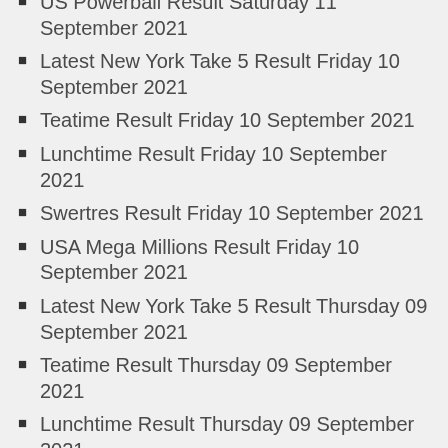US Powerball Result Saturday 11 September 2021
Latest New York Take 5 Result Friday 10 September 2021
Teatime Result Friday 10 September 2021
Lunchtime Result Friday 10 September 2021
Swertres Result Friday 10 September 2021
USA Mega Millions Result Friday 10 September 2021
Latest New York Take 5 Result Thursday 09 September 2021
Teatime Result Thursday 09 September 2021
Lunchtime Result Thursday 09 September 2021
Swertres Result Thursday 09 September 2021